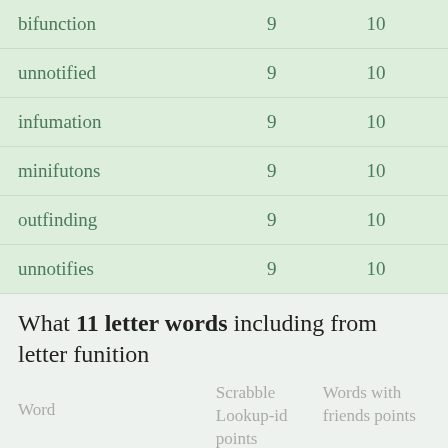| Word | Scrabble Lookup-id points | Words with friends points |
| --- | --- | --- |
| bifunction | 9 | 10 |
| unnotified | 9 | 10 |
| infumation | 9 | 10 |
| minifutons | 9 | 10 |
| outfinding | 9 | 10 |
| unnotifies | 9 | 10 |
What 11 letter words including from letter funition
| Word | Scrabble Lookup-id points | Words with friends points |
| --- | --- | --- |